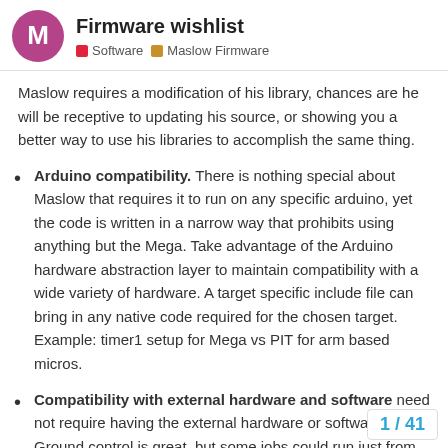Firmware wishlist — Software | Maslow Firmware
Maslow requires a modification of his library, chances are he will be receptive to updating his source, or showing you a better way to use his libraries to accomplish the same thing.
Arduino compatibility. There is nothing special about Maslow that requires it to run on any specific arduino, yet the code is written in a narrow way that prohibits using anything but the Mega. Take advantage of the Arduino hardware abstraction layer to maintain compatibility with a wide variety of hardware. A target specific include file can bring in any native code required for the chosen target. Example: timer1 setup for Mega vs PIT for arm based micros.
Compatibility with external hardware and software need not require having the external hardware or software. Ground control is great, but some jobs could run just from the arduino program.
1 / 41